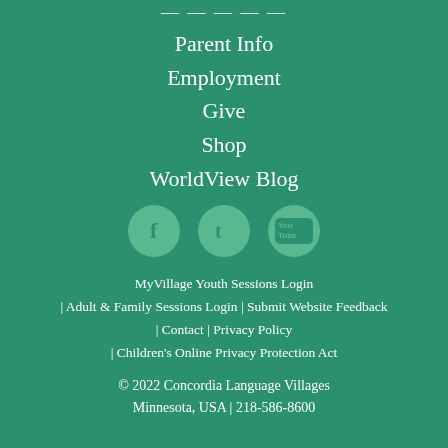Parent Info
Employment
Give
Shop
WorldView Blog
[Figure (infographic): Three circular social media icons: Facebook (f), Twitter (bird/t), YouTube (You Tube logo)]
MyVillage Youth Sessions Login | Adult & Family Sessions Login | Submit Website Feedback | Contact | Privacy Policy | Children's Online Privacy Protection Act
© 2022 Concordia Language Villages Minnesota, USA | 218-586-8600